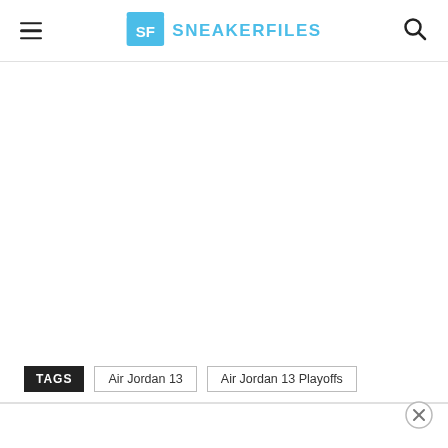SF SNEAKERFILES
TAGS  Air Jordan 13  Air Jordan 13 Playoffs